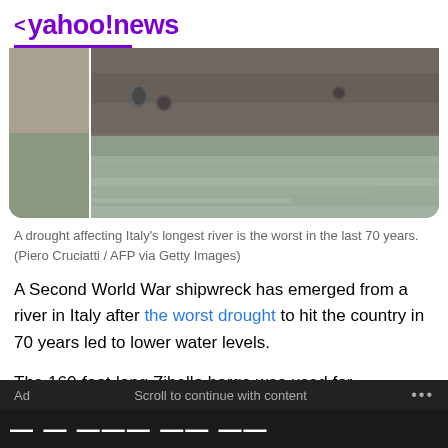< yahoo!news
[Figure (photo): A shipwreck barge emerging from a river, showing the hull above water level with greenish water visible below. The image shows the bow/side of a large metal vessel partially submerged.]
A drought affecting Italy's longest river is the worst in the last 70 years. (Piero Cruciatti / AFP via Getty Images)
A Second World War shipwreck has emerged from a river in Italy after the worst drought to hit the country in 70 years led to lower water levels.
The 160-foot-long Zibello barge was used for transporting wood during the conflict and sank in the Po river in northern Italy in 1943.
Ad   Scroll to continue with content   ...